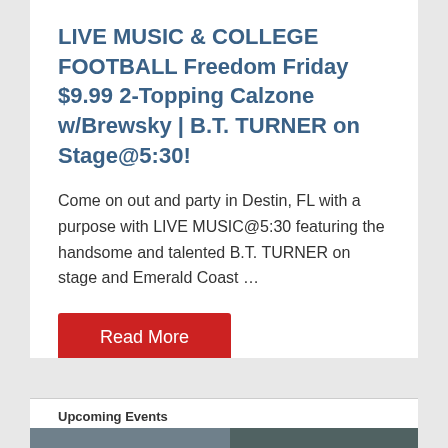LIVE MUSIC & COLLEGE FOOTBALL Freedom Friday $9.99 2-Topping Calzone w/Brewsky | B.T. TURNER on Stage@5:30!
Come on out and party in Destin, FL with a purpose with LIVE MUSIC@5:30 featuring the handsome and talented B.T. TURNER on stage and Emerald Coast ...
Read More
Upcoming Events
[Figure (photo): Partial photo strip visible at bottom of page]